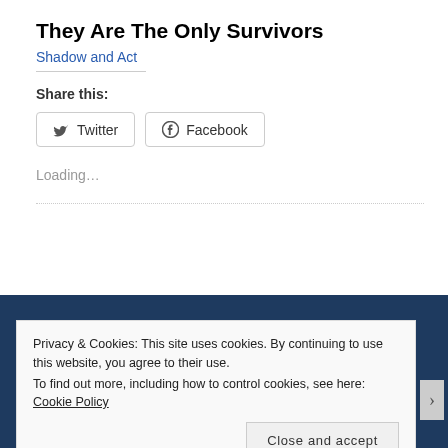They Are The Only Survivors
Shadow and Act
Share this:
Twitter  Facebook
Loading…
Privacy & Cookies: This site uses cookies. By continuing to use this website, you agree to their use.
To find out more, including how to control cookies, see here: Cookie Policy
Close and accept